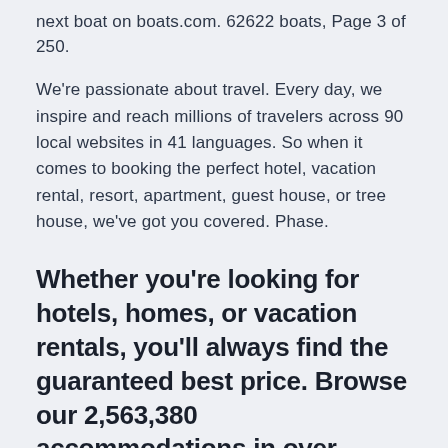next boat on boats.com. 62622 boats, Page 3 of 250.
We're passionate about travel. Every day, we inspire and reach millions of travelers across 90 local websites in 41 languages. So when it comes to booking the perfect hotel, vacation rental, resort, apartment, guest house, or tree house, we've got you covered. Phase.
Whether you're looking for hotels, homes, or vacation rentals, you'll always find the guaranteed best price. Browse our 2,563,380 accommodations in over 85,000 destinations.